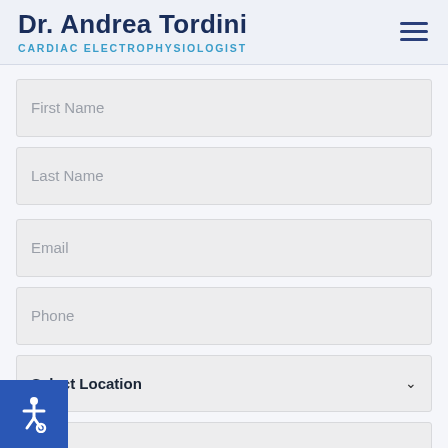Dr. Andrea Tordini — CARDIAC ELECTROPHYSIOLOGIST
First Name
Last Name
Email
Phone
Select Location
Message
[Figure (other): Accessibility wheelchair icon in blue square, bottom-left corner]